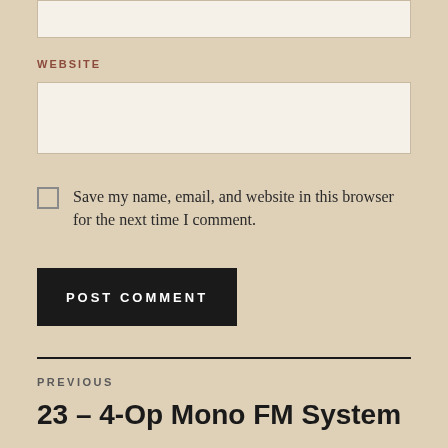[input box top]
WEBSITE
[website input box]
Save my name, email, and website in this browser for the next time I comment.
POST COMMENT
PREVIOUS
23 – 4-Op Mono FM System